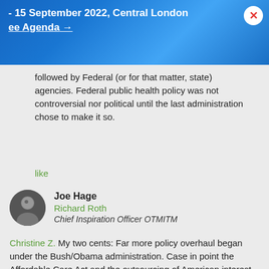- 15 September 2022, Central London
ee Agenda →
followed by Federal (or for that matter, state) agencies. Federal public health policy was not controversial nor political until the last administration chose to make it so.
like
Joe Hage
Richard Roth
Chief Inspiration Officer OTMITM
Christine Z. My two cents: Far more policy overhaul began under the Bush/Obama administration. Case in point the Affordable Care Act and the outsourcing of American interest. Not clear when we turned the full reigns of power over to the